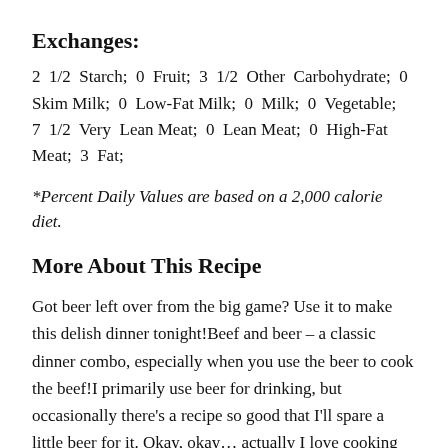Exchanges:
2 1/2 Starch; 0 Fruit; 3 1/2 Other Carbohydrate; 0 Skim Milk; 0 Low-Fat Milk; 0 Milk; 0 Vegetable; 7 1/2 Very Lean Meat; 0 Lean Meat; 0 High-Fat Meat; 3 Fat;
*Percent Daily Values are based on a 2,000 calorie diet.
More About This Recipe
Got beer left over from the big game? Use it to make this delish dinner tonight!Beef and beer – a classic dinner combo, especially when you use the beer to cook the beef!I primarily use beer for drinking, but occasionally there's a recipe so good that I'll spare a little beer for it. Okay, okay… actually I love cooking with beer, so I will frequently stow away a few good ones for cooking later.These brisket sandwiches are a great example of how beer can be perfect as a cooking liquid. The finished